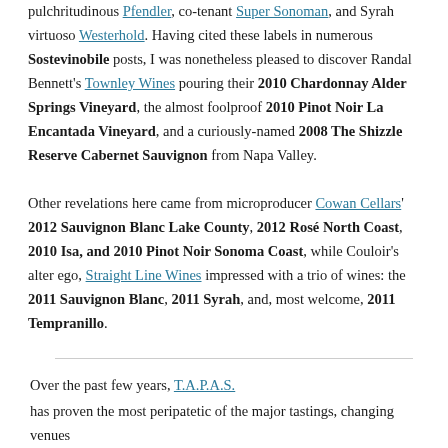pulchritudinous Pfendler, co-tenant Super Sonoman, and Syrah virtuoso Westerhold. Having cited these labels in numerous Sostevinobile posts, I was nonetheless pleased to discover Randal Bennett's Townley Wines pouring their 2010 Chardonnay Alder Springs Vineyard, the almost foolproof 2010 Pinot Noir La Encantada Vineyard, and a curiously-named 2008 The Shizzle Reserve Cabernet Sauvignon from Napa Valley.
Other revelations here came from microproducer Cowan Cellars' 2012 Sauvignon Blanc Lake County, 2012 Rosé North Coast, 2010 Isa, and 2010 Pinot Noir Sonoma Coast, while Couloir's alter ego, Straight Line Wines impressed with a trio of wines: the 2011 Sauvignon Blanc, 2011 Syrah, and, most welcome, 2011 Tempranillo.
Over the past few years, T.A.P.A.S. has proven the most peripatetic of the major tastings, changing venues with almost each iteration until settling this year, as have many